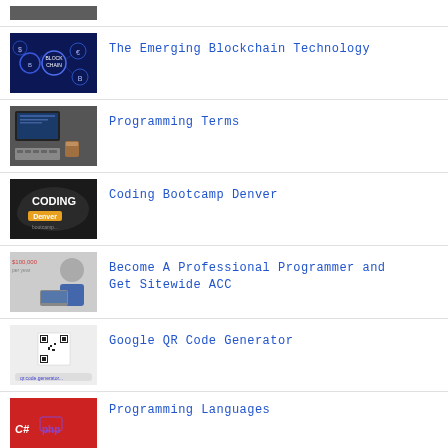[Figure (screenshot): Partial thumbnail of a dark-themed image (top of page, cropped)]
The Emerging Blockchain Technology
Programming Terms
Coding Bootcamp Denver
Become A Professional Programmer and Get Sitewide ACC
Google QR Code Generator
Programming Languages